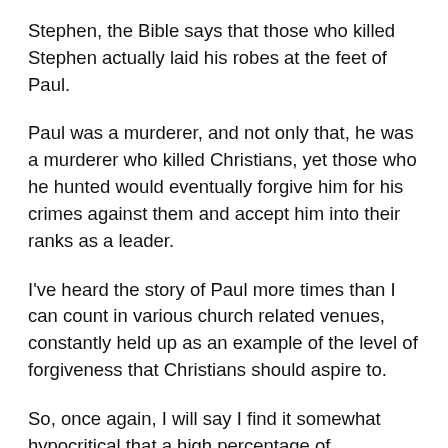Stephen, the Bible says that those who killed Stephen actually laid his robes at the feet of Paul.
Paul was a murderer, and not only that, he was a murderer who killed Christians, yet those who he hunted would eventually forgive him for his crimes against them and accept him into their ranks as a leader.
I've heard the story of Paul more times than I can count in various church related venues, constantly held up as an example of the level of forgiveness that Christians should aspire to.
So, once again, I will say I find it somewhat hypocritical that a high percentage of evangelicals, specifically white evangelicals, support the death penalty. These are the same people who push anti-abortion laws as part of their pro-life beliefs, the people who screamed “all lives matter” in response to the Black Lives Matter